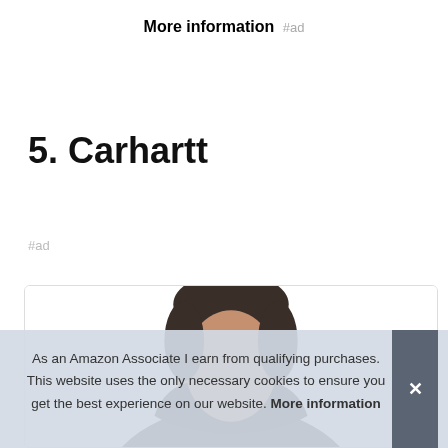More information #ad
5. Carhartt
#ad
[Figure (photo): Product card showing a man wearing a black Carhartt hoodie, partially visible from shoulders up]
As an Amazon Associate I earn from qualifying purchases. This website uses the only necessary cookies to ensure you get the best experience on our website. More information